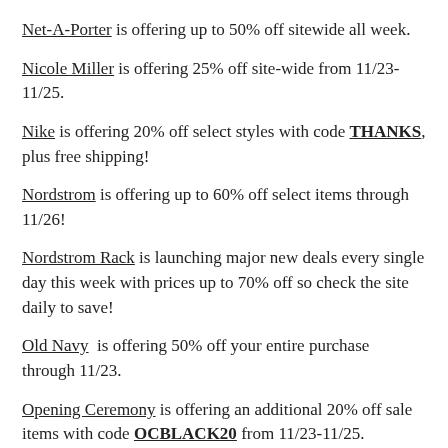Net-A-Porter is offering up to 50% off sitewide all week.
Nicole Miller is offering 25% off site-wide from 11/23-11/25.
Nike is offering 20% off select styles with code THANKS, plus free shipping!
Nordstrom is offering up to 60% off select items through 11/26!
Nordstrom Rack is launching major new deals every single day this week with prices up to 70% off so check the site daily to save!
Old Navy is offering 50% off your entire purchase through 11/23.
Opening Ceremony is offering an additional 20% off sale items with code OCBLACK20 from 11/23-11/25.
Poppy Lissiman is offering 25% off site-wide (excluding pre-order